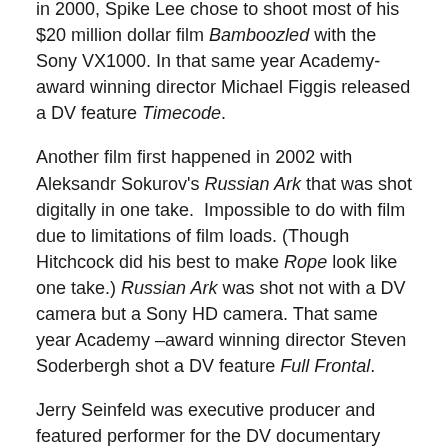in 2000, Spike Lee chose to shoot most of his $20 million dollar film Bamboozled with the Sony VX1000. In that same year Academy-award winning director Michael Figgis released a DV feature Timecode.
Another film first happened in 2002 with Aleksandr Sokurov's Russian Ark that was shot digitally in one take. Impossible to do with film due to limitations of film loads. (Though Hitchcock did his best to make Rope look like one take.) Russian Ark was shot not with a DV camera but a Sony HD camera. That same year Academy –award winning director Steven Soderbergh shot a DV feature Full Frontal.
Jerry Seinfeld was executive producer and featured performer for the DV documentary Comedian (2002) that covered his return to stand-up comedy after his successful run on the TV hit Seinfeld. It was made with a small crew